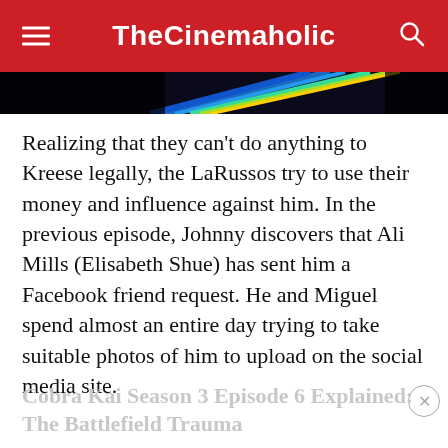TheCinemaholic
[Figure (other): Advertisement banner with colorful diagonal lines on dark background]
Realizing that they can't do anything to Kreese legally, the LaRussos try to use their money and influence against him. In the previous episode, Johnny discovers that Ali Mills (Elisabeth Shue) has sent him a Facebook friend request. He and Miguel spend almost an entire day trying to take suitable photos of him to upload on the social media site.
Cobra Kai Season 3 Episode 6 Explained: The Battlefield Trauma